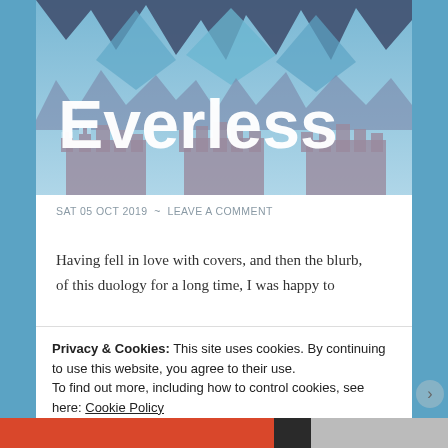[Figure (illustration): Fantasy landscape illustration with mountains, castles silhouettes in blue/purple tones with 'Everless' text as title overlay in large white bold font]
SAT 05 OCT 2019  ~  LEAVE A COMMENT
Having fell in love with covers, and then the blurb, of this duology for a long time, I was happy to
Privacy & Cookies: This site uses cookies. By continuing to use this website, you agree to their use.
To find out more, including how to control cookies, see here: Cookie Policy
Close and accept